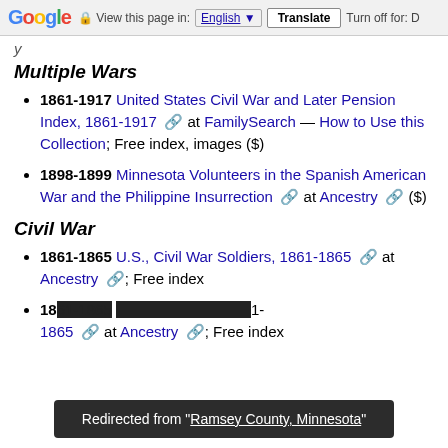Google | View this page in: English | Translate | Turn off for: D
Multiple Wars
1861-1917 United States Civil War and Later Pension Index, 1861-1917 at FamilySearch — How to Use this Collection; Free index, images ($)
1898-1899 Minnesota Volunteers in the Spanish American War and the Philippine Insurrection at Ancestry ($)
Civil War
1861-1865 U.S., Civil War Soldiers, 1861-1865 at Ancestry; Free index
1861-1865 at Ancestry; Free index (partial, obscured)
Redirected from "Ramsey County, Minnesota"